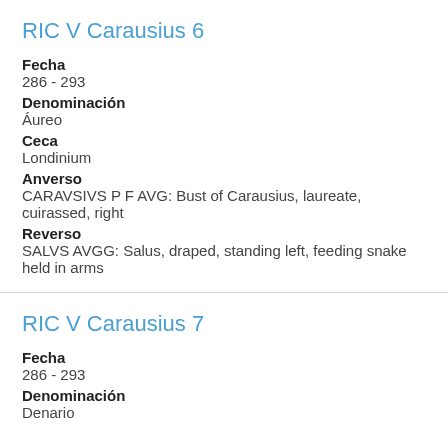RIC V Carausius 6
Fecha
286 - 293
Denominación
Áureo
Ceca
Londinium
Anverso
CARAVSIVS P F AVG: Bust of Carausius, laureate, cuirassed, right
Reverso
SALVS AVGG: Salus, draped, standing left, feeding snake held in arms
RIC V Carausius 7
Fecha
286 - 293
Denominación
Denario